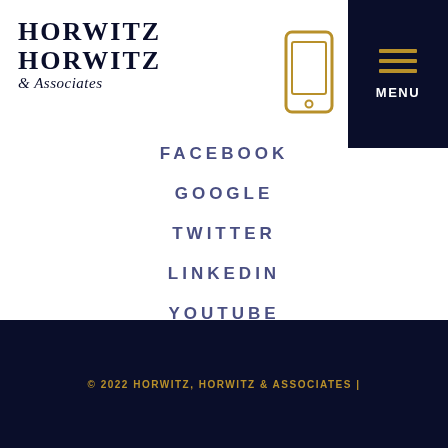HORWITZ HORWITZ & Associates
[Figure (illustration): Mobile phone icon outline in gold/amber color]
[Figure (illustration): Hamburger menu icon (three horizontal lines) in gold on dark navy background with MENU text]
FACEBOOK
GOOGLE
TWITTER
LINKEDIN
YOUTUBE
© 2022 HORWITZ, HORWITZ & ASSOCIATES |